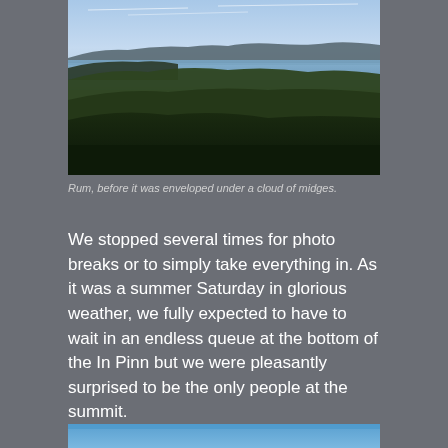[Figure (photo): Aerial/elevated landscape photograph showing green hills and islands in the sea with a blue sky, view from a summit looking toward the Isle of Rum, Scotland.]
Rum, before it was enveloped under a cloud of midges.
We stopped several times for photo breaks or to simply take everything in. As it was a summer Saturday in glorious weather, we fully expected to have to wait in an endless queue at the bottom of the In Pinn but we were pleasantly surprised to be the only people at the summit.
[Figure (photo): Partial view of a second photograph showing blue sky, partially visible at the bottom of the page.]